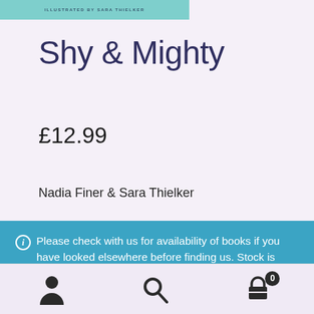[Figure (illustration): Partial book cover showing teal/mint background with text 'ILLUSTRATED BY SARA THIELKER' at the bottom]
Shy & Mighty
£12.99
Nadia Finer & Sara Thielker
Please check with us for availability of books if you have looked elsewhere before finding us. Stock is updated manually, and some items may have been missed! Dismiss